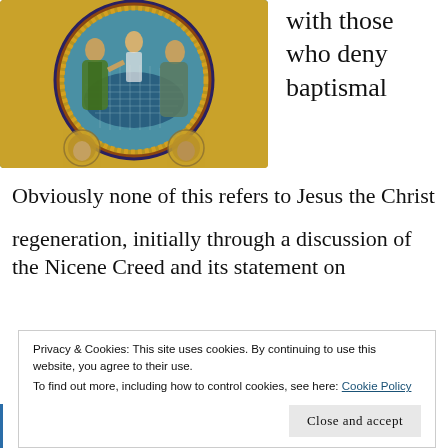[Figure (photo): Circular Byzantine mosaic depicting the Baptism of Christ, with figures including Jesus, John the Baptist, and a river god, surrounded by a decorative gold border]
with those who deny baptismal
Obviously none of this refers to Jesus the Christ
regeneration, initially through a discussion of the Nicene Creed and its statement on
Privacy & Cookies: This site uses cookies. By continuing to use this website, you agree to their use.
To find out more, including how to control cookies, see here: Cookie Policy
Close and accept
ἁμαρτιῶν